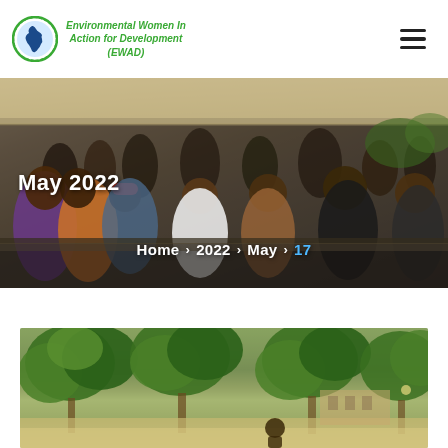[Figure (logo): EWAD logo: circular green-bordered logo with Africa map, next to organization name text]
Environmental Women In Action for Development (EWAD)
[Figure (photo): Hero banner photograph showing a group of people seated at a community meeting or event under a tent canopy, with diverse attendees in colorful clothing]
May 2022
Home > 2022 > May > 17
[Figure (photo): Outdoor photo showing trees with lush green foliage and a building visible in the background, with a person visible in the lower portion]